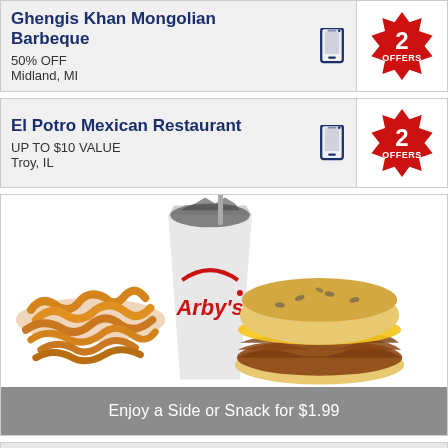Ghengis Khan Mongolian Barbeque
50% OFF
Midland, MI
2 OFFERS
El Potro Mexican Restaurant
UP TO $10 VALUE
Troy, IL
2 OFFERS
[Figure (photo): Arby's meal with curly fries, large drink cup with Arby's logo, and a roast beef sandwich with cheese on a sesame bun. Caption overlay: Enjoy a Side or Snack for $1.99]
Enjoy a Side or Snack for $1.99